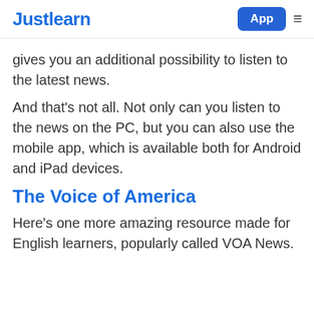Justlearn | App
gives you an additional possibility to listen to the latest news.
And that's not all. Not only can you listen to the news on the PC, but you can also use the mobile app, which is available both for Android and iPad devices.
The Voice of America
Here's one more amazing resource made for English learners, popularly called VOA News.